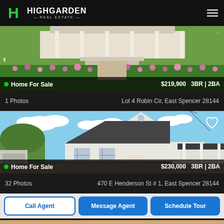[Figure (logo): Highgarden Real Estate logo with green H icon and navigation hamburger menu]
[Figure (photo): First listing photo showing a home exterior with garden/landscaping, with left navigation arrow]
Home For Sale    $219,900   3BR | 2BA
1 Photos    Lot 4 Robin Cir, East Spencer 28144
[Figure (photo): Second listing photo showing a white ranch-style home with blue sky and clouds, with heart/favorite icon]
Home For Sale    $230,000   3BR | 2BA
32 Photos    470 E Henderson St # 1, East Spencer 28144
Call Agent   Message Agent   Schedule Tour
[Figure (photo): Third listing photo partially visible at bottom]